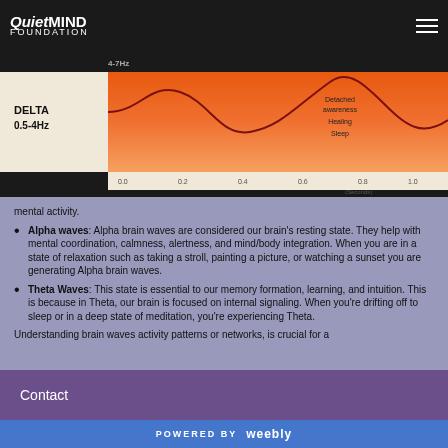QuietMIND FOUNDATION
[Figure (continuous-plot): Brain wave frequency chart showing DELTA 0.5-4Hz band in orange/red gradient with a sinusoidal wave curve. X-axis shows seconds from 0.0 to 1.0. Right side labels: Detached awareness, Healing, Sleep. Top label: 4-7Hz]
mental activity.
Alpha waves: Alpha brain waves are considered our brain's resting state. They help with mental coordination, calmness, alertness, and mind/body integration. When you are in a state of relaxation such as taking a stroll, painting a picture, or watching a sunset you are generating Alpha brain waves.
Theta Waves: This state is essential to our memory formation, learning, and intuition. This is because in Theta, our brain is focused on internal signaling. When you're drifting off to sleep or in a deep state of meditation, you're experiencing Theta.
Understanding brain waves activity patterns or networks, is crucial for a
Contact
POWERED BY weebly